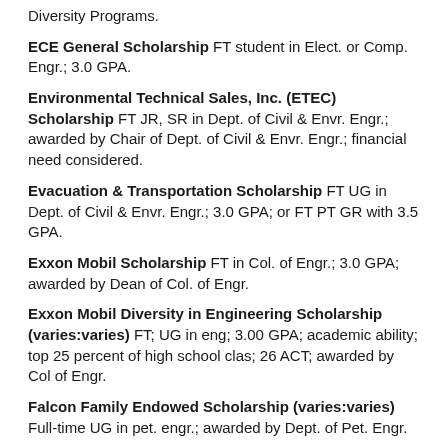Diversity Programs.
ECE General Scholarship FT student in Elect. or Comp. Engr.; 3.0 GPA.
Environmental Technical Sales, Inc. (ETEC) Scholarship FT JR, SR in Dept. of Civil & Envr. Engr.; awarded by Chair of Dept. of Civil & Envr. Engr.; financial need considered.
Evacuation & Transportation Scholarship FT UG in Dept. of Civil & Envr. Engr.; 3.0 GPA; or FT PT GR with 3.5 GPA.
Exxon Mobil Scholarship FT in Col. of Engr.; 3.0 GPA; awarded by Dean of Col. of Engr.
Exxon Mobil Diversity in Engineering Scholarship (varies:varies) FT; UG in eng; 3.00 GPA; academic ability; top 25 percent of high school clas; 26 ACT; awarded by Col of Engr.
Falcon Family Endowed Scholarship (varies:varies) Full-time UG in pet. engr.; awarded by Dept. of Pet. Engr.
*Ashton and Brent Fenet Scholarship (varies:varies) Full-time UG; asphalt technology in civil engr.; awarded by Dept. of Civil & Envr. Engr.
Robert G. Flory Scholarship Fund (varies:varies) Full-time SO/JR/SR